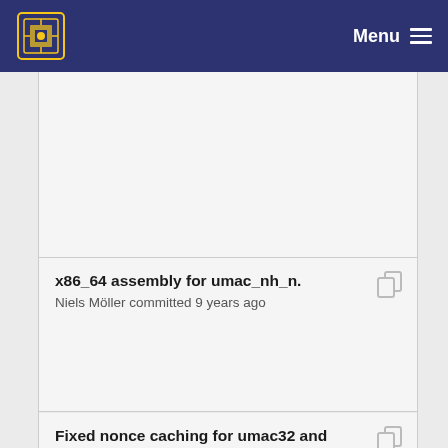Menu
x86_64 assembly for umac_nh_n.
Niels Möller committed 9 years ago
Fixed nonce caching for umac32 and umac64.
Niels Möller committed 9 years ago